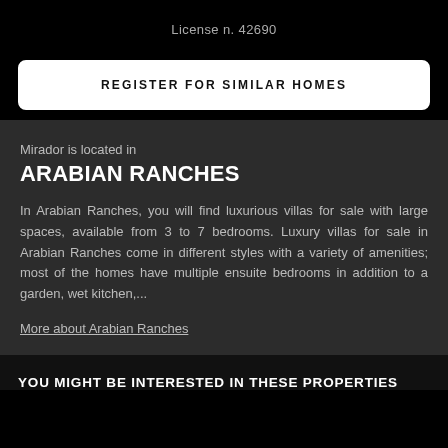License n. 42690
REGISTER FOR SIMILAR HOMES
Mirador is located in
ARABIAN RANCHES
In Arabian Ranches, you will find luxurious villas for sale with large spaces, available from 3 to 7 bedrooms. Luxury villas for sale in Arabian Ranches come in different styles with a variety of amenities; most of the homes have multiple ensuite bedrooms in addition to a garden, wet kitchen,...
More about Arabian Ranches
YOU MIGHT BE INTERESTED IN THESE PROPERTIES